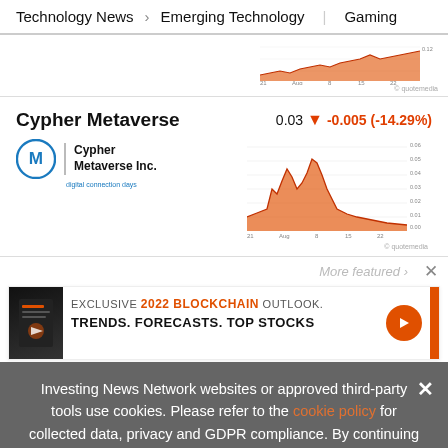Technology News > Emerging Technology | Gaming
[Figure (area-chart): Small stock price area chart at the top of the page, red/orange area fill, x-axis shows dates (21, Aug, 8, 15, 22), partial view]
Cypher Metaverse
0.03 ▼ -0.005 (-14.29%)
[Figure (logo): Cypher Metaverse Inc. logo with circular M icon and tagline 'digital connection days']
[Figure (area-chart): Stock price area chart for Cypher Metaverse, red/orange fill with peaks, x-axis shows dates (21, Aug, 8, 15, 22), y-axis shows price values around 0.02-0.06]
More featured ›
[Figure (other): Advertisement banner: EXCLUSIVE 2022 BLOCKCHAIN OUTLOOK. TRENDS. FORECASTS. TOP STOCKS. with book image and orange arrow button]
Investing News Network websites or approved third-party tools use cookies. Please refer to the cookie policy for collected data, privacy and GDPR compliance. By continuing to browse the site, you agree to our use of cookies.